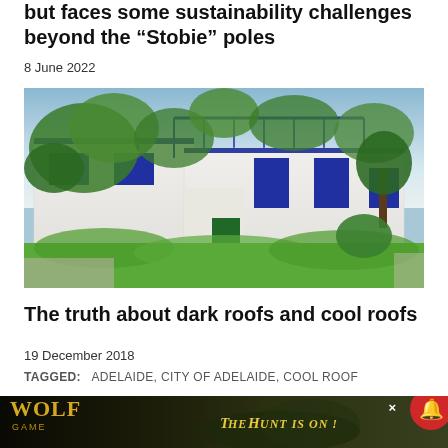but faces some sustainability challenges beyond the "Stobie" poles
8 June 2022
[Figure (photo): White Mediterranean-style building with blue trim and doors, covered in green climbing vines and trees, with lush green shrubs in foreground]
The truth about dark roofs and cool roofs
19 December 2018
TAGGED:   ADELAIDE, CITY OF ADELAIDE, COOL ROOF
[Figure (photo): Wolf Game advertisement banner showing wolves in a natural outdoor setting with text 'THE HUNT IS ON!']